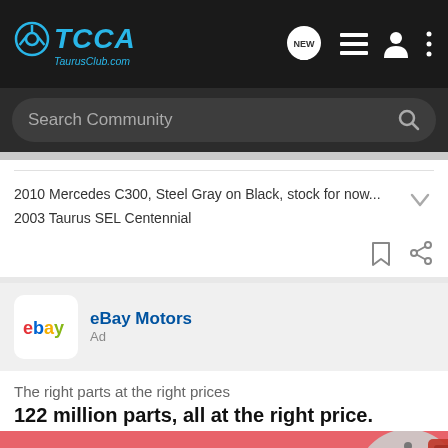[Figure (logo): TCCA TaurusClub.com logo with steering wheel icon in blue on dark background nav bar with NEW chat bubble, list, user, and menu icons]
Search Community
2010 Mercedes C300, Steel Gray on Black, stock for now...
2003 Taurus SEL Centennial
eBay Motors
Ad
The right parts at the right prices
122 million parts, all at the right price.
[Figure (illustration): eBay Motors advertisement image with pink/red background showing ebay motors logo text and brake disc with red caliper on the right side]